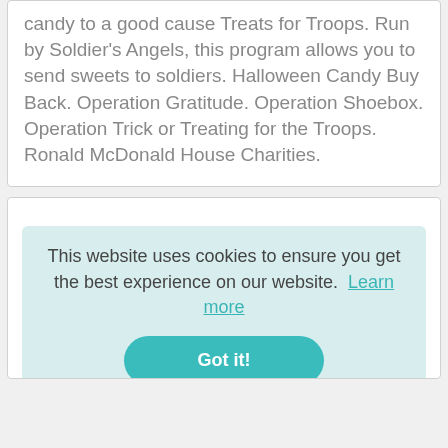candy to a good cause Treats for Troops. Run by Soldier's Angels, this program allows you to send sweets to soldiers. Halloween Candy Buy Back. Operation Gratitude. Operation Shoebox. Operation Trick or Treating for the Troops. Ronald McDonald House Charities.
This website uses cookies to ensure you get the best experience on our website. Learn more
Got it!
contacts that cover your pupil cause vision